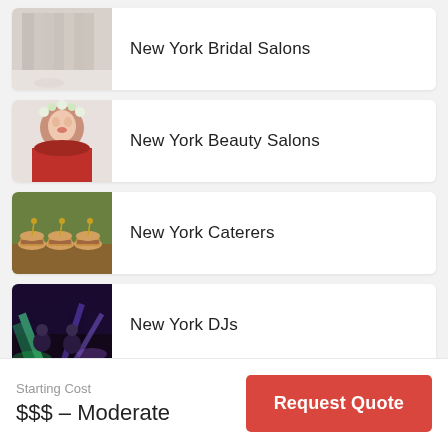New York Bridal Salons
New York Beauty Salons
New York Caterers
New York DJs
[Figure (photo): Partial view of a fifth list item thumbnail]
Starting Cost
$$$ – Moderate
Request Quote